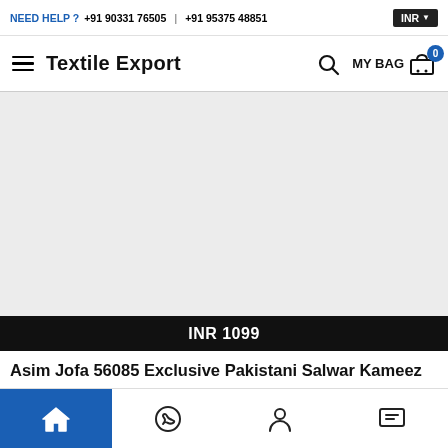NEED HELP ? +91 90331 76505  +91 95375 48851  INR
Textile Export
[Figure (photo): Product image placeholder area (light grey background, no visible product image loaded)]
INR 1099
Asim Jofa 56085 Exclusive Pakistani Salwar Kameez
Bottom navigation bar with Home, WhatsApp, Account, and Chat icons